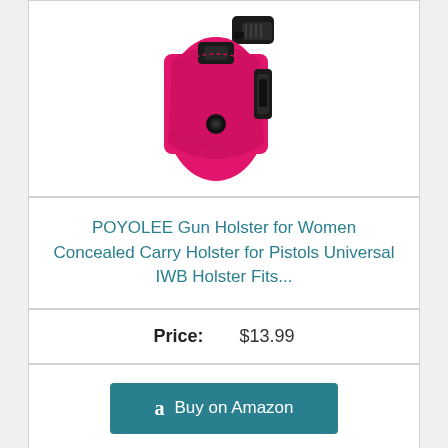[Figure (photo): Pink gun holster (IWB) with black pistol grip visible at top, product photo on white background]
POYOLEE Gun Holster for Women Concealed Carry Holster for Pistols Universal IWB Holster Fits...
Price: $13.99
Buy on Amazon
10
[Figure (photo): Partial view of another product image at the bottom of the page]